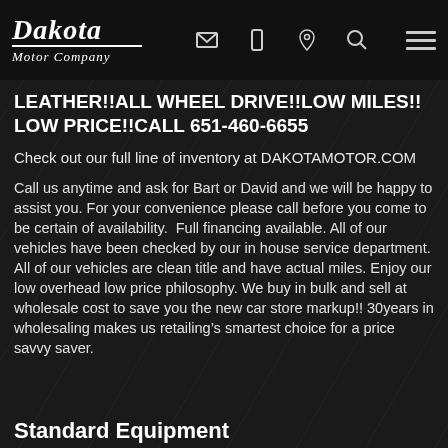Dakota Motor Company
LEATHER!!ALL WHEEL DRIVE!!LOW MILES!! LOW PRICE!!CALL 651-460-6655
Check out our full line of inventory at DAKOTAMOTOR.COM
Call us anytime and ask for Bart or David and we will be happy to assist you. For your convenience please call before you come to be certain of availability.  Full financing available. All of our vehicles have been checked by our in house service department. All of our vehicles are clean title and have actual miles. Enjoy our low overhead low price philosophy. We buy in bulk and sell at wholesale cost to save you the new car store markup!! 30years in wholesaling makes us retailing’s smartest choice for a price savvy saver.
Standard Equipment